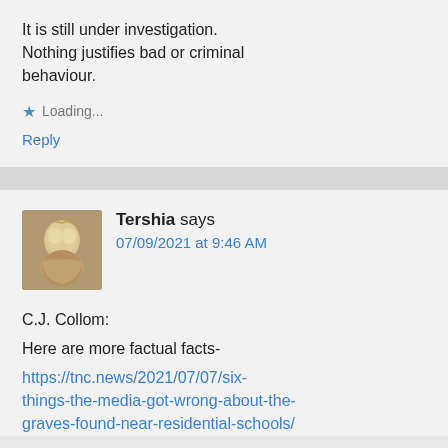It is still under investigation. Nothing justifies bad or criminal behaviour.
Loading...
Reply
Tershia says
07/09/2021 at 9:46 AM
C.J. Collom:
Here are more factual facts-
https://tnc.news/2021/07/07/six-things-the-media-got-wrong-about-the-graves-found-near-residential-schools/